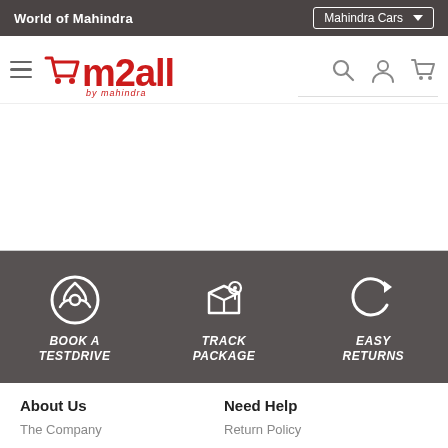World of Mahindra | Mahindra Cars
[Figure (logo): m2all by Mahindra logo with hamburger menu, search, user, and cart icons]
[Figure (infographic): Three feature icons: BOOK A TESTDRIVE (steering wheel), TRACK PACKAGE (box with location pin), EASY RETURNS (circular arrow) on dark grey background]
About Us
The Company
Need Help
Return Policy